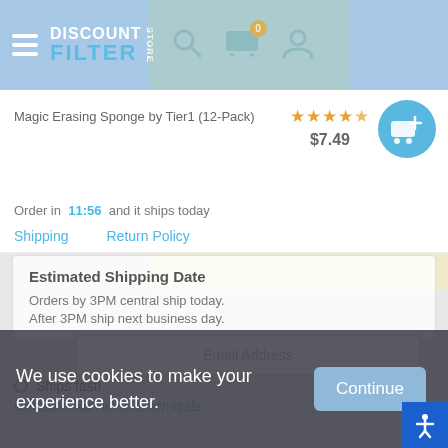Discount Filter Store header with hamburger menu, logo, search, cart (0), account icons
Magic Erasing Sponge by Tier1 (12-Pack)
★★★★★ $7.49
Order in 11:56 and it ships today
Shipping   Return Policy
Estimated Shipping Date
Orders by 3PM central ship today.
After 3PM ship next business day.
Email Address
Ships fast!
Contains No Harsh Chemicals
We use cookies to make your experience better.
Continue